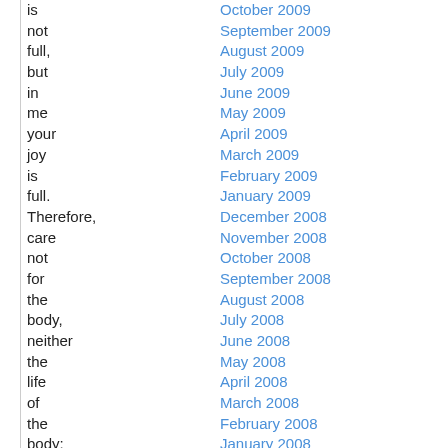is
not
full,
but
in
me
your
joy
is
full.
Therefore,
care
not
for
the
body,
neither
the
life
of
the
body;
but
care
for
the
soul
October 2009
September 2009
August 2009
July 2009
June 2009
May 2009
April 2009
March 2009
February 2009
January 2009
December 2008
November 2008
October 2008
September 2008
August 2008
July 2008
June 2008
May 2008
April 2008
March 2008
February 2008
January 2008
December 2007
November 2007
October 2007
September 2007
August 2007
July 2007
June 2007
May 2007
April 2007
March 2007
February 2007
January 2007
December 2006
November 2006
October 2006
September 2006